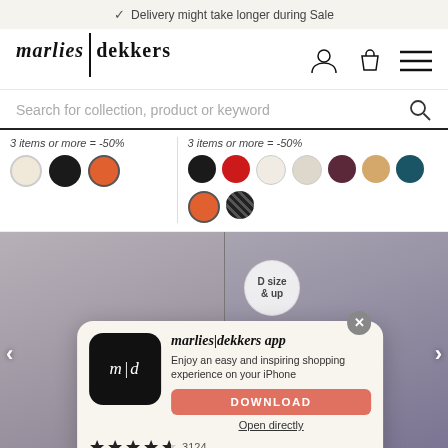Delivery might take longer during Sale
[Figure (logo): marlies|dekkers brand logo in serif italic font with vertical pipe separator]
Search for collection, product or keyword
3 items or more = -50%
3 items or more = -50%
[Figure (photo): Two fashion model photos side by side showing women in lingerie. Left photo has a D size & up badge overlay. App download popup overlaid at bottom center.]
marlies|dekkers app
Enjoy an easy and inspiring shopping experience on your iPhone
DOWNLOAD
Open directly
3124